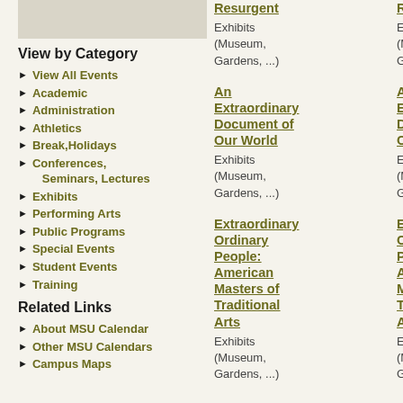View by Category
View All Events
Academic
Administration
Athletics
Break,Holidays
Conferences, Seminars, Lectures
Exhibits
Performing Arts
Public Programs
Special Events
Student Events
Training
Related Links
About MSU Calendar
Other MSU Calendars
Campus Maps
Resurgent
Exhibits
(Museum, Gardens, ...)
Resurgent
Exhibits
(Museum, Gardens, ...)
An Extraordinary Document of Our World
Exhibits
(Museum, Gardens, ...)
An Extraordinary Document of Our World
Exhibits
(Museum, Gardens, ...)
Extraordinary Ordinary People: American Masters of Traditional Arts
Exhibits
(Museum, Gardens, ...)
Extraordinary Ordinary People: American Masters of Traditional Arts
Exhibits
(Museum, Gardens, ...)